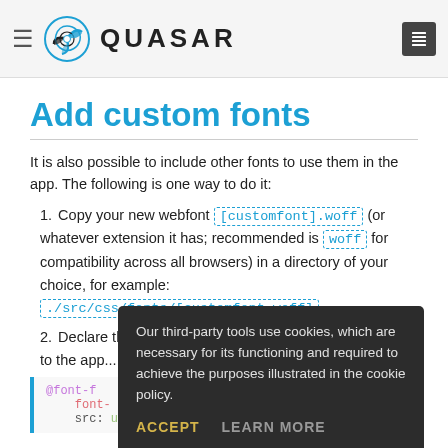QUASAR
Add custom fonts
It is also possible to include other fonts to use them in the app. The following is one way to do it:
1. Copy your new webfont [customfont].woff (or whatever extension it has; recommended is woff for compatibility across all browsers) in a directory of your choice, for example: ./src/css/fonts/[customfont.woff]
2. Declare the font in any applicable CSS/Stylus/Sass/... files so your app has access to it...
@font-face {
  font-family: 'customFont';
  src: url('./fonts/customfont.woff');
}
Our third-party tools use cookies, which are necessary for its functioning and required to achieve the purposes illustrated in the cookie policy. ACCEPT  LEARN MORE